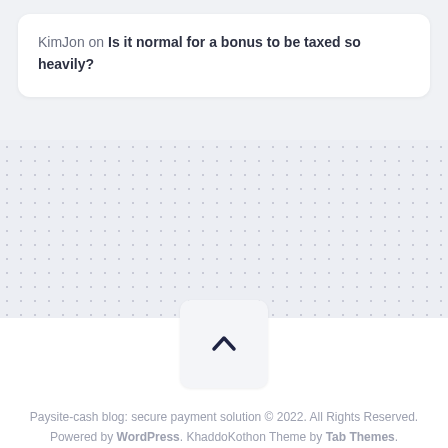KimJon on Is it normal for a bonus to be taxed so heavily?
[Figure (other): Scroll-to-top button with upward chevron icon on light gray background]
Paysite-cash blog: secure payment solution © 2022. All Rights Reserved. Powered by WordPress. KhaddoKothon Theme by Tab Themes.